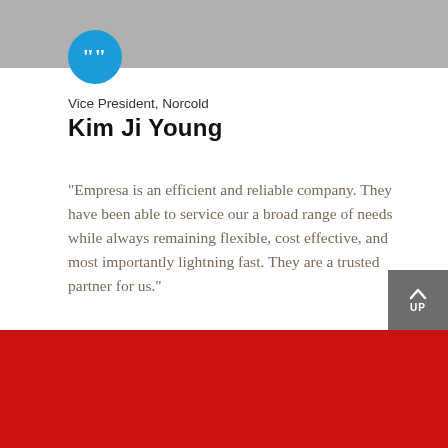[Figure (illustration): Blue circle with white quotation mark icon]
Vice President, Norcold
Kim Ji Young
“Empresa is an efficient and reliable company. They have been able to service our a broad range of needs while always remaining flexible, cost effective, and most importantly lightning fast. They are a trusted partner for us.”
[Figure (infographic): Carousel navigation dots: one filled blue dot and three empty circles]
[Figure (infographic): Gray UP button with upward caret arrow]